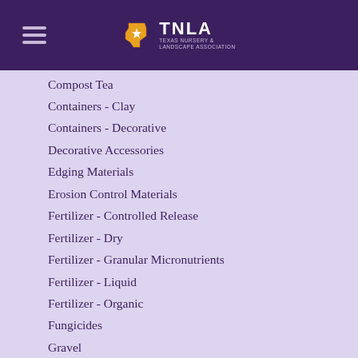TNLA - Texas Nursery & Landscape Association
Compost Tea
Containers - Clay
Containers - Decorative
Decorative Accessories
Edging Materials
Erosion Control Materials
Fertilizer - Controlled Release
Fertilizer - Dry
Fertilizer - Granular Micronutrients
Fertilizer - Liquid
Fertilizer - Organic
Fungicides
Gravel
Growing Medium
Herbicides
Humates
Insecticides
Landscape Accessories - Decorative
Landscape Accessories - Functional